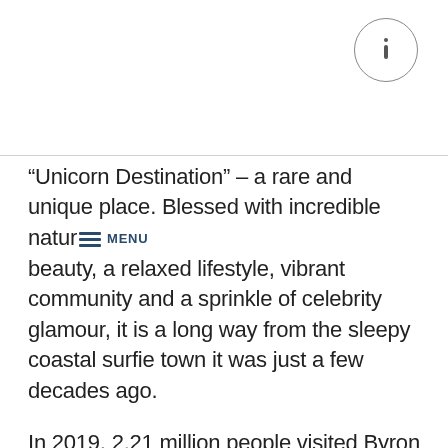“Unicorn Destination” – a rare and unique place. Blessed with incredible nature beauty, a relaxed lifestyle, vibrant community and a sprinkle of celebrity glamour, it is a long way from the sleepy coastal surfie town it was just a few decades ago.

In 2019, 2.21 million people visited Byron Shire. Unique visitors stayed for a total of 5.5 million nights. This recent council report estimates that over the next decade, visitor numbers will grow by 50% to 75%. In 2030, Byron Shire can expect 3.86 million visitors and 8.5 million visitor nights if this current